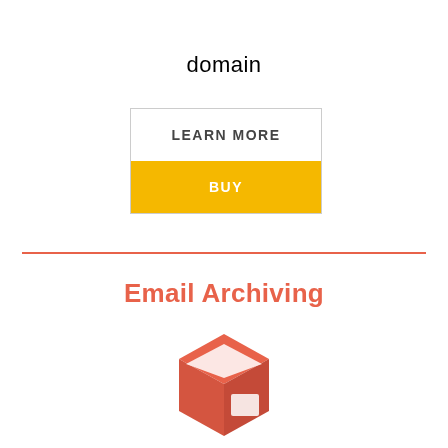domain
[Figure (infographic): Two buttons: 'LEARN MORE' (white background, gray border) and 'BUY' (yellow/gold background, white text)]
[Figure (illustration): A coral/salmon colored 3D box icon representing email archiving]
Email Archiving